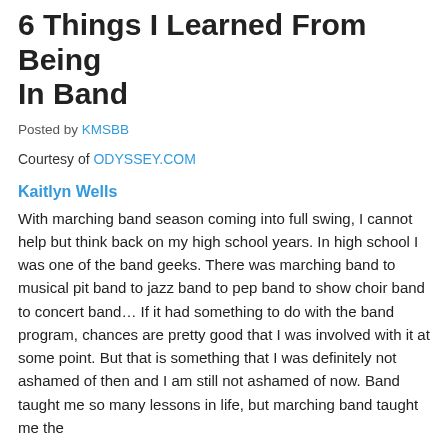6 Things I Learned From Being In Band
Posted by KMSBB
Courtesy of ODYSSEY.COM
Kaitlyn Wells
With marching band season coming into full swing, I cannot help but think back on my high school years. In high school I was one of the band geeks. There was marching band to musical pit band to jazz band to pep band to show choir band to concert band… If it had something to do with the band program, chances are pretty good that I was involved with it at some point. But that is something that I was definitely not ashamed of then and I am still not ashamed of now. Band taught me so many lessons in life, but marching band taught me the